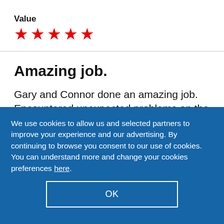Value
[Figure (other): 5 red stars rating]
Amazing job.
Gary and Connor done an amazing job. Encountered unexpected problems on the day,
We use cookies to allow us and selected partners to improve your experience and our advertising. By continuing to browse you consent to our use of cookies. You can understand more and change your cookies preferences here.
OK